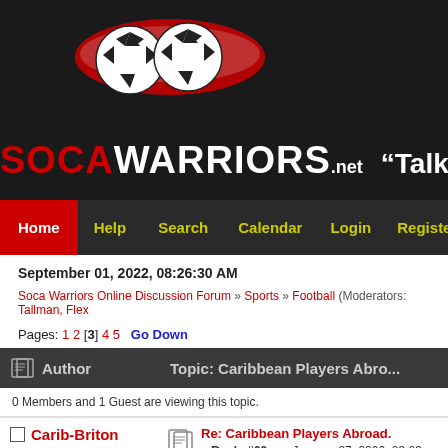[Figure (logo): SocaWarriors.net logo with soccer balls and red swoosh on dark background]
"Talk Yuh Talk
Home  Help  Search  Calendar  Login  Register
September 01, 2022, 08:26:30 AM
Soca Warriors Online Discussion Forum » Sports » Football (Moderators: Tallman, Flex
Pages: 1 2 [3] 4 5  Go Down
| Author | Topic: Caribbean Players Abro... |
| --- | --- |
0 Members and 1 Guest are viewing this topic.
Carib-Briton
Hero Warrior
Re: Caribbean Players Abroad.
« Reply #60 on: January 27, 2006, 03:03